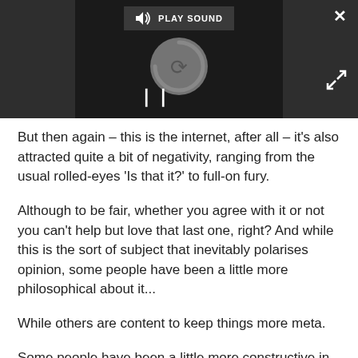[Figure (screenshot): A media player overlay with dark background showing a loading spinner, PLAY SOUND button at top, pause (II) button at bottom left, close (X) button at top right, and expand arrows at bottom right.]
But then again – this is the internet, after all – it's also attracted quite a bit of negativity, ranging from the usual rolled-eyes 'Is that it?' to full-on fury.
Although to be fair, whether you agree with it or not you can't help but love that last one, right? And while this is the sort of subject that inevitably polarises opinion, some people have been a little more philosophical about it...
While others are content to keep things more meta.
Some people have been a little more constructive in